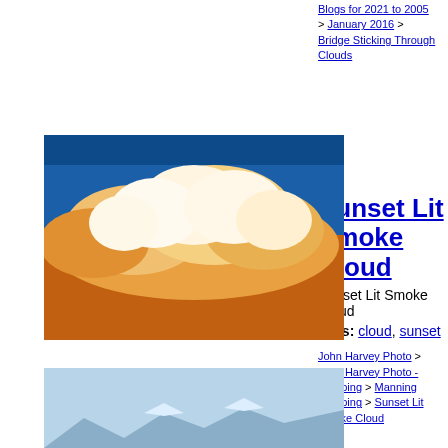Blogs for 2021 to 2005 > January 2016 > Bridge Sticking Through Clouds
[Figure (photo): Sunset lit cumulus cloud glowing orange-gold against deep blue sky]
Sunset Lit Smoke Cloud
Sunset Lit Smoke Cloud
Tags: cloud, sunset
John Harvey Photo > John Harvey Photo - Camping > Manning Camping > Sunset Lit Smoke Cloud
Mark And Mike At Summit
I was quite happy with the silhouette but I have to admit it was purely accidental
[Figure (photo): Silhouette of a person at a mountain summit with snowy peaks and blue sky in background]